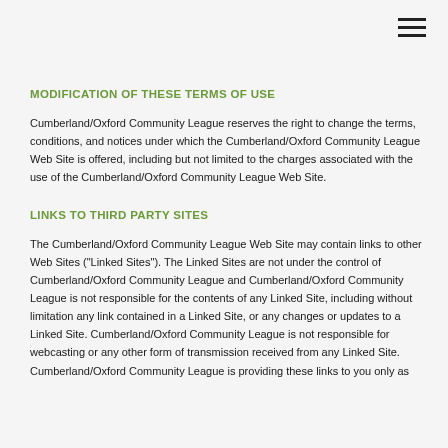MODIFICATION OF THESE TERMS OF USE
Cumberland/Oxford Community League reserves the right to change the terms, conditions, and notices under which the Cumberland/Oxford Community League Web Site is offered, including but not limited to the charges associated with the use of the Cumberland/Oxford Community League Web Site.
LINKS TO THIRD PARTY SITES
The Cumberland/Oxford Community League Web Site may contain links to other Web Sites ("Linked Sites"). The Linked Sites are not under the control of Cumberland/Oxford Community League and Cumberland/Oxford Community League is not responsible for the contents of any Linked Site, including without limitation any link contained in a Linked Site, or any changes or updates to a Linked Site. Cumberland/Oxford Community League is not responsible for webcasting or any other form of transmission received from any Linked Site. Cumberland/Oxford Community League is providing these links to you only as